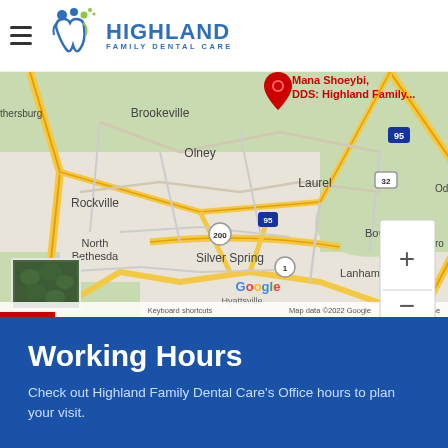Highland Family Dental Care
[Figure (map): Google Maps screenshot showing the area around Olney, MD with a red pin marker labeled 'Mana Shoeybi, DDS: Highland Family...' showing surrounding areas including Brookeville, Olney, Rockville, North Bethesda, Silver Spring, Laurel, Bowie, Lanham, Hyattsville. Road indicators for 270, 95, 200, 32, 1 visible. Map data ©2022 Google.]
Working Hours
Check out Highland Family Dental Care's Office hours to plan your visit.